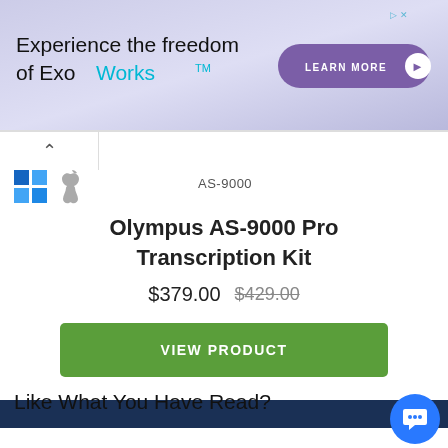[Figure (infographic): Advertisement banner for ExoWorks with purple gradient background, text 'Experience the freedom of ExoWorks™', and a purple 'LEARN MORE' button with arrow]
[Figure (logo): Windows logo (blue squares) and Apple logo (grey) icons side by side]
AS-9000
Olympus AS-9000 Pro Transcription Kit
$379.00  $429.00
VIEW PRODUCT
Like What You Have Read?